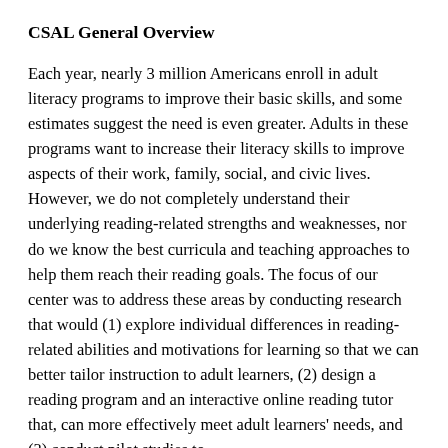CSAL General Overview
Each year, nearly 3 million Americans enroll in adult literacy programs to improve their basic skills, and some estimates suggest the need is even greater. Adults in these programs want to increase their literacy skills to improve aspects of their work, family, social, and civic lives. However, we do not completely understand their underlying reading-related strengths and weaknesses, nor do we know the best curricula and teaching approaches to help them reach their reading goals. The focus of our center was to address these areas by conducting research that would (1) explore individual differences in reading-related abilities and motivations for learning so that we can better tailor instruction to adult learners, (2) design a reading program and an interactive online reading tutor that, can more effectively meet adult learners' needs, and (3) conduct pilot studies to